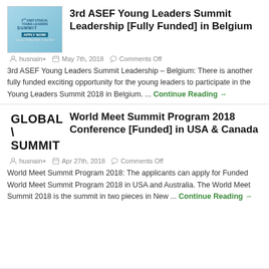[Figure (photo): ASEF Young Leaders Summit promotional image with 'APPLY NOW' text on blue background]
3rd ASEF Young Leaders Summit Leadership [Fully Funded] in Belgium
husnain+   May 7th, 2018   Comments Off
3rd ASEF Young Leaders Summit Leadership – Belgium: There is another fully funded exciting opportunity for the young leaders to participate in the Young Leaders Summit 2018 in Belgium. ... Continue Reading →
[Figure (logo): Global Summit logo text in black]
World Meet Summit Program 2018 Conference [Funded] in USA & Canada
husnain+   Apr 27th, 2018   Comments Off
World Meet Summit Program 2018: The applicants can apply for Funded World Meet Summit Program 2018 in USA and Australia. The World Meet Summit 2018 is the summit in two pieces in New ... Continue Reading →